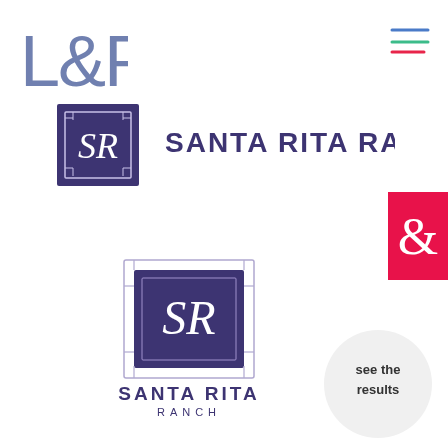[Figure (logo): L&P logo in blue/grey letters top left]
[Figure (logo): Hamburger menu icon top right with three colored lines (blue, green, red)]
[Figure (logo): Santa Rita Ranch logo - square SR monogram in dark purple with ornate border, next to bold text SANTA RITA RANCH]
[Figure (logo): Pink/magenta square with ampersand symbol on right side]
[Figure (logo): Santa Rita Ranch full vertical logo - ornate square SR monogram in dark purple with border, SANTA RITA text and RANCH below]
[Figure (other): White circular button with text 'see the results']